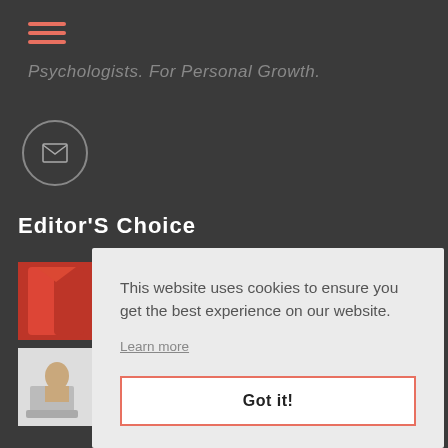[Figure (illustration): Hamburger menu icon with three horizontal salmon/coral colored lines]
Psychologists. For Personal Growth.
[Figure (illustration): Circular envelope/email icon button with grey border]
Editor'S Choice
[Figure (photo): Red jacket/clothing thumbnail image]
[Figure (photo): Person typing on laptop thumbnail image]
This website uses cookies to ensure you get the best experience on our website.
Learn more
Got it!